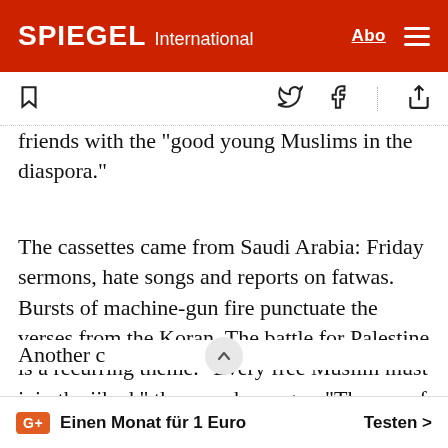SPIEGEL International
friends with the "good young Muslims in the diaspora."
The cassettes came from Saudi Arabia: Friday sermons, hate songs and reports on fatwas. Bursts of machine-gun fire punctuate the verses from the Koran. The battle for Palestine is a recurring theme. "Every free Muslim must join the jihad," the preacher rages. "The use of weapons is the only logical consequence. In my experience, bloodshed is the only guarantee of peace."
G+ Einen Monat für 1 Euro   Testen >